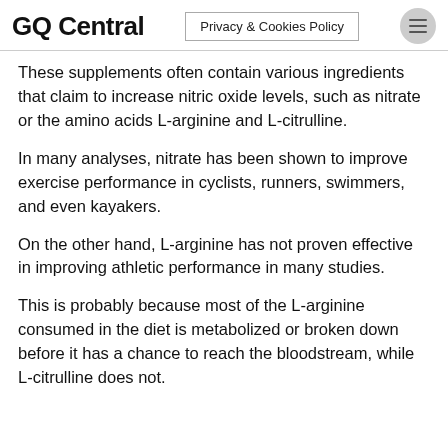GQ Central
Privacy & Cookies Policy
These supplements often contain various ingredients that claim to increase nitric oxide levels, such as nitrate or the amino acids L-arginine and L-citrulline.
In many analyses, nitrate has been shown to improve exercise performance in cyclists, runners, swimmers, and even kayakers.
On the other hand, L-arginine has not proven effective in improving athletic performance in many studies.
This is probably because most of the L-arginine consumed in the diet is metabolized or broken down before it has a chance to reach the bloodstream, while L-citrulline does not.